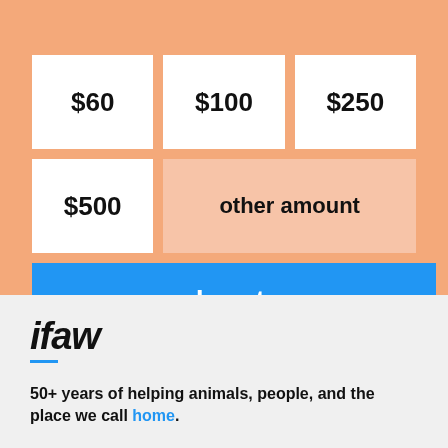$60
$100
$250
$500
other amount
donate
[Figure (logo): IFAW logo — bold italic text 'ifaw' with a blue underline]
50+ years of helping animals, people, and the place we call home.